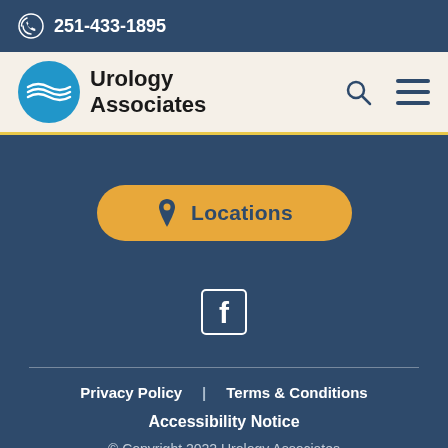251-433-1895
[Figure (logo): Urology Associates logo with blue circle/wave icon and bold text]
Locations
[Figure (infographic): Facebook social media icon in a square]
Privacy Policy | Terms & Conditions
Accessibility Notice
© Copyright 2022 Urology Associates